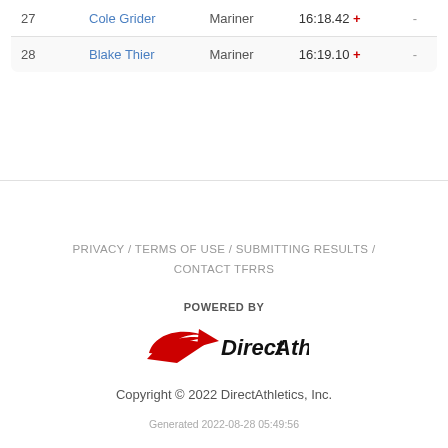| # | Name | Team | Time |  |
| --- | --- | --- | --- | --- |
| 27 | Cole Grider | Mariner | 16:18.42 + | - |
| 28 | Blake Thier | Mariner | 16:19.10 + | - |
PRIVACY / TERMS OF USE / SUBMITTING RESULTS / CONTACT TFRRS
[Figure (logo): POWERED BY DirectAthletics logo with red swoosh/arrow graphic]
Copyright © 2022 DirectAthletics, Inc.
Generated 2022-08-28 05:49:56